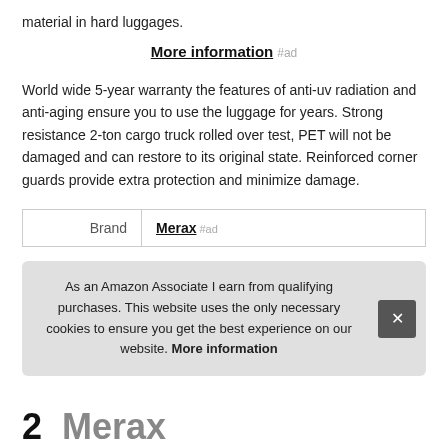material in hard luggages.
More information #ad
World wide 5-year warranty the features of anti-uv radiation and anti-aging ensure you to use the luggage for years. Strong resistance 2-ton cargo truck rolled over test, PET will not be damaged and can restore to its original state. Reinforced corner guards provide extra protection and minimize damage.
| Brand | Merax #ad |
| --- | --- |
| Brand | Merax #ad |
As an Amazon Associate I earn from qualifying purchases. This website uses the only necessary cookies to ensure you get the best experience on our website. More information
2  Merax